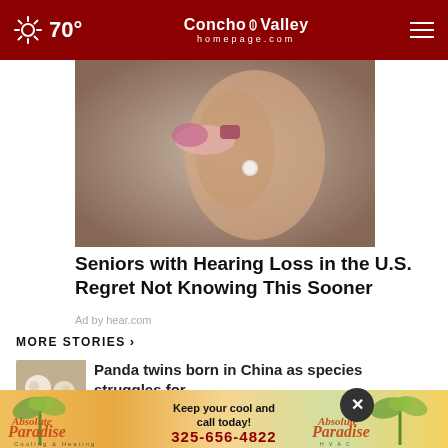70° ConchoValley homepage.com
[Figure (photo): Close-up photo of a person's ear with a hearing aid being inserted, with painted pink fingernails visible]
Seniors with Hearing Loss in the U.S. Regret Not Knowing This Sooner
Ad by hear.com
MORE STORIES ›
[Figure (photo): Thumbnail image of newborn panda twins]
Panda twins born in China as species struggles for …
[Figure (photo): Jail logs thumbnail with blue/purple background]
Tom Green County jail logs: August 24, …
[Figure (advertisement): Absolute Paradise Cooling & Heating ad with palm trees. Keep your cool and call today! 325-656-4822]